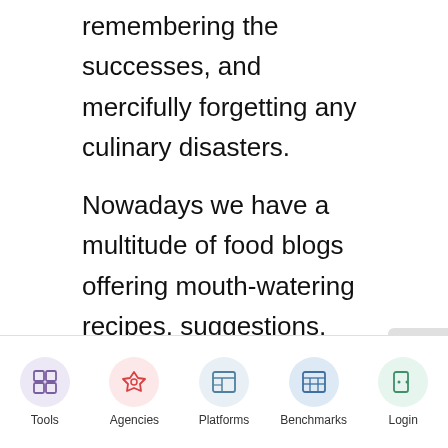remembering the successes, and mercifully forgetting any culinary disasters.
Nowadays we have a multitude of food blogs offering mouth-watering recipes, suggestions, and vivid photography, sending us straight to the kitchen … or the supermarket. There are hundreds of food blogs to tempt your taste buds.
17 Best Food Blogs to Sate your Hunger in 2022:
[Figure (screenshot): Website navigation bar with five icon buttons: Tools (purple circle with grid icon), Agencies (pink circle with rocket icon), Platforms (blue circle with layout icon), Benchmarks (blue circle with table icon), Login (green circle with door icon). A 'Summary' watermark text is faintly visible in the center.]